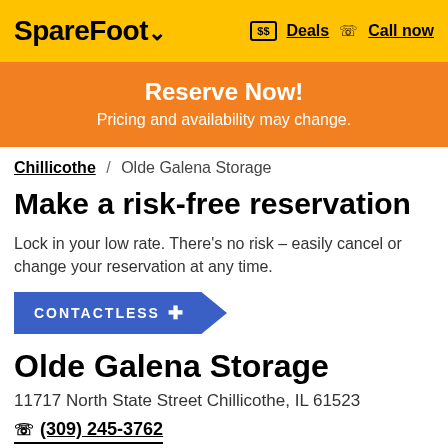SpareFoot Deals Call now
Reserve Now! Pricing and availability may change.
Chillicothe / Olde Galena Storage
Make a risk-free reservation
Lock in your low rate. There's no risk – easily cancel or change your reservation at any time.
CONTACTLESS
Olde Galena Storage
11717 North State Street Chillicothe, IL 61523
(309) 245-3762